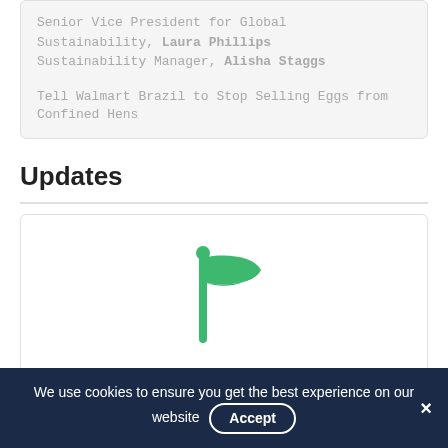Senior Vice President for Global Sustainability, Laura Phillips Sustainability Manager, Alisha Staggs
Tell Walmart Brazil to Stop Selling Eggs from Confined Hens
Updates
[Figure (illustration): Green flag icon representing Victory]
Victory
August 13, 2018
We use cookies to ensure you get the best experience on our website  Accept